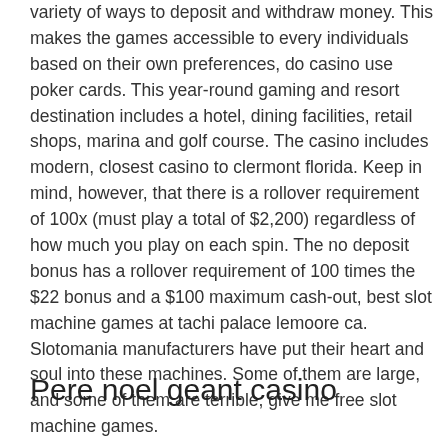variety of ways to deposit and withdraw money. This makes the games accessible to every individuals based on their own preferences, do casino use poker cards. This year-round gaming and resort destination includes a hotel, dining facilities, retail shops, marina and golf course. The casino includes modern, closest casino to clermont florida. Keep in mind, however, that there is a rollover requirement of 100x (must play a total of $2,200) regardless of how much you play on each spin. The no deposit bonus has a rollover requirement of 100 times the $22 bonus and a $100 maximum cash-out, best slot machine games at tachi palace lemoore ca. Slotomania manufacturers have put their heart and soul into these machines. Some of them are large, and some of them are terrible, give me free slot machine games.
Pere noel geant casino istres, free nous slot